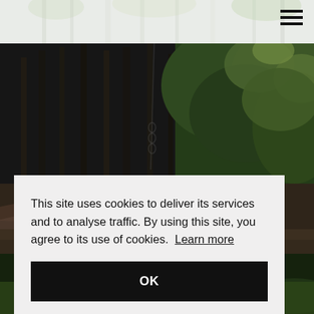[Figure (photo): Faded/washed out forest image at the top of the page, partial view]
[Figure (photo): Dark forest scene with tall pine trees, fallen logs, and lush green ferns/undergrowth]
This site uses cookies to deliver its services and to analyse traffic. By using this site, you agree to its use of cookies.  Learn more
OK